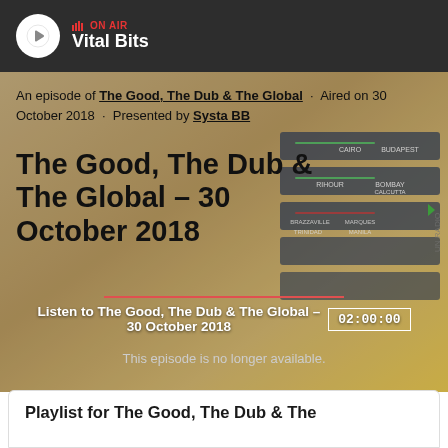ON AIR · Vital Bits
An episode of The Good, The Dub & The Global · Aired on 30 October 2018 · Presented by Systa BB
The Good, The Dub & The Global – 30 October 2018
Listen to The Good, The Dub & The Global – 30 October 2018  02:00:00
This episode is no longer available.
Playlist for The Good, The Dub & The